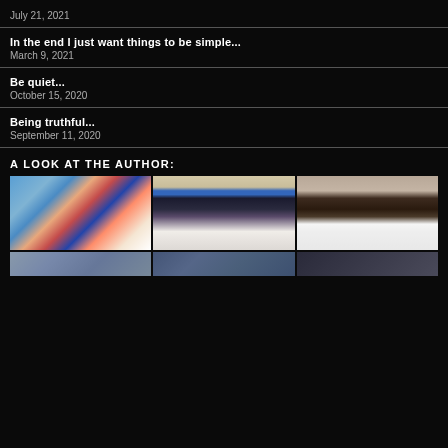July 21, 2021
In the end I just want things to be simple...
March 9, 2021
Be quiet...
October 15, 2020
Being truthful...
September 11, 2020
A LOOK AT THE AUTHOR:
[Figure (photo): Three photos in a grid: a woman with a dog selfie outdoors, a polaroid-style photo of a couple, and two dogs on a bed. A partial second row of photos is visible at the bottom.]